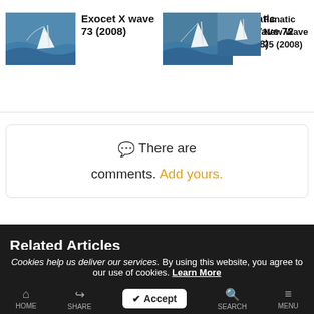[Figure (photo): Windsurfer action shot - Exocet X wave 73 (2008)]
Exocet X wave 73 (2008)
[Figure (photo): Windsurfer action shot - Fanatic AllWave 72 (2008)]
Fanatic AllWave 72 (2008)
[Figure (photo): Windsurfer action shot - Fanatic New Wave 75 (2008)]
Fanatic New Wave 75 (2008)
💬 There are comments. Add yours.
Related Articles
Cookies help us deliver our services. By using this website, you agree to our use of cookies. Learn More
HOME  SHARE  Accept  SEARCH  MENU